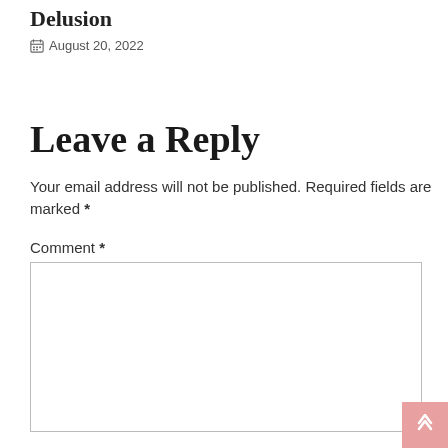Delusion
August 20, 2022
Leave a Reply
Your email address will not be published. Required fields are marked *
Comment *